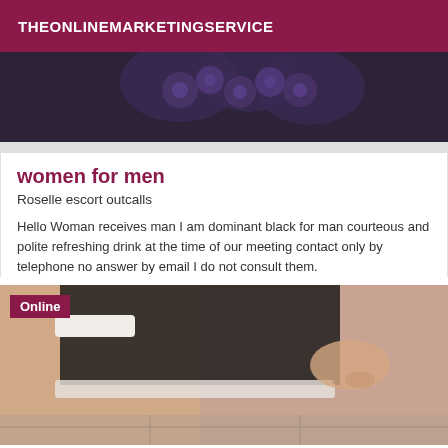THEONLINEMARKETINGSERVICE
[Figure (photo): Close-up photo of dark fabric with purple floral/rose decorations on a gray background]
women for men
Roselle escort outcalls
Hello Woman receives man I am dominant black for man courteous and polite refreshing drink at the time of our meeting contact only by telephone no answer by email I do not consult them.
[Figure (photo): Photo showing a person wearing black lace lingerie with white stockings and a white lace trim, with a tattoo visible, with an 'Online' badge overlay]